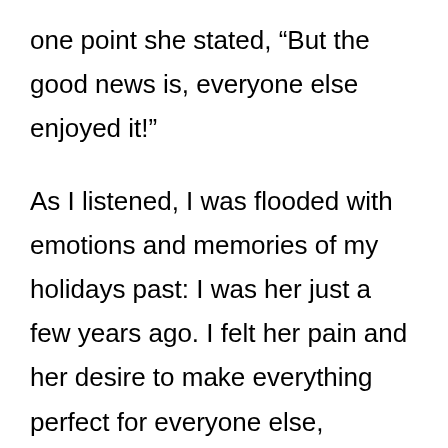one point she stated, “But the good news is, everyone else enjoyed it!”
As I listened, I was flooded with emotions and memories of my holidays past: I was her just a few years ago. I felt her pain and her desire to make everything perfect for everyone else, forgetting about her own wants and needs.
While excited to see the holidays come, I used to be even happier to see them go.
Sad, but true.